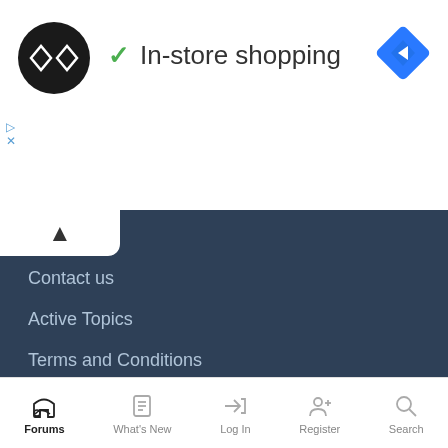[Figure (logo): Black circle logo with double arrow symbol inside]
In-store shopping
[Figure (logo): Blue diamond navigation arrow icon]
Contact us
Active Topics
Terms and Conditions
Contact us   Terms and rules   Privacy policy   Help
Community platform by XenForo® © 2010-2021 XenForo Ltd.
XenPorta 2 PRO © Jason Axelrod of 8WAYRUN
//   XenForo theme by xenfocus